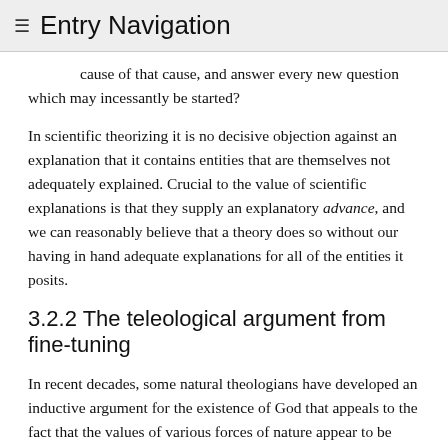≡ Entry Navigation
cause of that cause, and answer every new question which may incessantly be started?
In scientific theorizing it is no decisive objection against an explanation that it contains entities that are themselves not adequately explained. Crucial to the value of scientific explanations is that they supply an explanatory advance, and we can reasonably believe that a theory does so without our having in hand adequate explanations for all of the entities it posits.
3.2.2 The teleological argument from fine-tuning
In recent decades, some natural theologians have developed an inductive argument for the existence of God that appeals to the fact that the values of various forces of nature appear to be “fine-tuned” for the existence of intelligent life. William Lane Craig (see e.g., Craig 1990, 2003) argues as follows. The world is conditioned principally by the values of the fundamental constants:
a: the fine structure constant, or electromagnetic